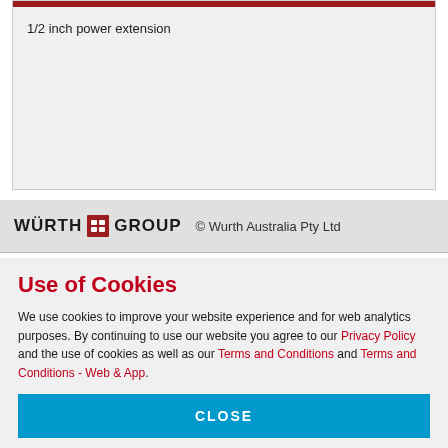1/2 inch power extension
WURTH GROUP © Wurth Australia Pty Ltd
Use of Cookies
We use cookies to improve your website experience and for web analytics purposes. By continuing to use our website you agree to our Privacy Policy and the use of cookies as well as our Terms and Conditions and Terms and Conditions - Web & App.
CLOSE